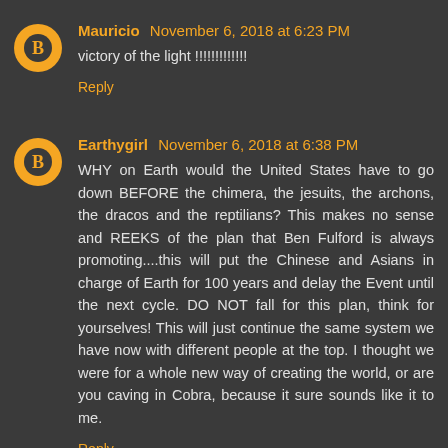Mauricio November 6, 2018 at 6:23 PM
victory of the light !!!!!!!!!!!!!
Reply
Earthygirl November 6, 2018 at 6:38 PM
WHY on Earth would the United States have to go down BEFORE the chimera, the jesuits, the archons, the dracos and the reptilians? This makes no sense and REEKS of the plan that Ben Fulford is always promoting....this will put the Chinese and Asians in charge of Earth for 100 years and delay the Event until the next cycle. DO NOT fall for this plan, think for yourselves! This will just continue the same system we have now with different people at the top. I thought we were for a whole new way of creating the world, or are you caving in Cobra, because it sure sounds like it to me.
Reply